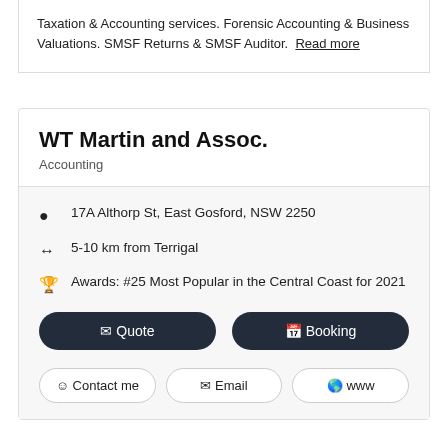Taxation & Accounting services. Forensic Accounting & Business Valuations. SMSF Returns & SMSF Auditor. Read more
WT Martin and Assoc.
Accounting
17A Althorp St, East Gosford, NSW 2250
5-10 km from Terrigal
Awards: #25 Most Popular in the Central Coast for 2021
Quote | Booking
Contact me | Email | www